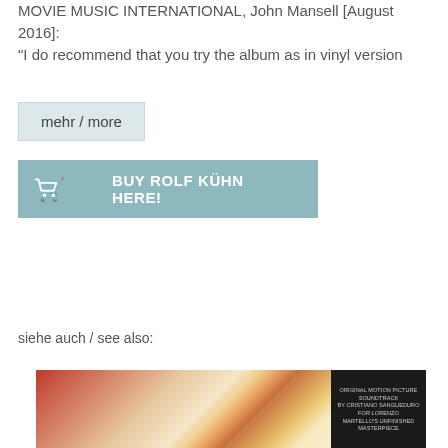MOVIE MUSIC INTERNATIONAL, John Mansell [August 2016]: "I do recommend that you try the album as in vinyl version
mehr / more
[Figure (other): Buy Rolf Kühn Here! button with shopping cart icon on teal/blue-grey background]
siehe auch / see also:
[Figure (other): Album cover image showing colorful floral/nature artwork on left side and black panel with text on right side reading: Original Motion Picture Soundtrack by Cristiano Sangueduro for Lorenzo Martello's Unfinished Masterpiece]